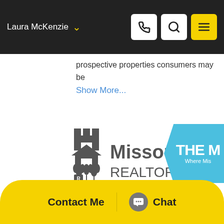Laura McKenzie
prospective properties consumers may be
Show More...
[Figure (logo): Missouri REALTORS logo with castle/wheat icon and blue chevron banner reading 'THE M Where Mis']
All information deemed reliable but not guaranteed. All properties are subject to prior sale, change or withdrawal. Neither listing broker(s) or information provider(s) shall be responsible for any typographical errors, misinformation, misprints and shall be held totally harmless. Listing(s) information is provided for consumers personal, non-commercial use and may not be used for any purpose other than to identify prospective properties consumers may be interested